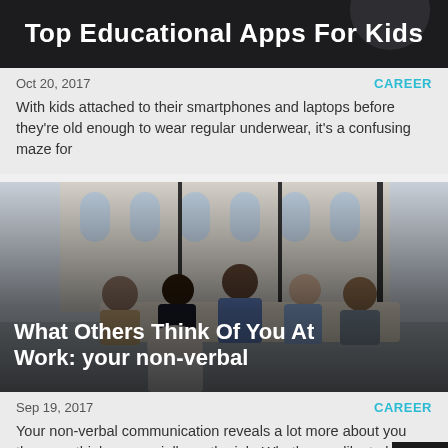[Figure (photo): Dark banner image with text 'Top Educational Apps For Kids']
Oct 20, 2017
CAREER
With kids attached to their smartphones and laptops before they're old enough to wear regular underwear, it's a confusing maze for
[Figure (photo): Business meeting photo: six people around a conference table with city building visible through large windows. Overlay title: 'What Others Think Of You At Work: your non-verbal']
Sep 19, 2017
CAREER
Your non-verbal communication reveals a lot more about you than you think – especially on the job. Whether we like to believe it or not